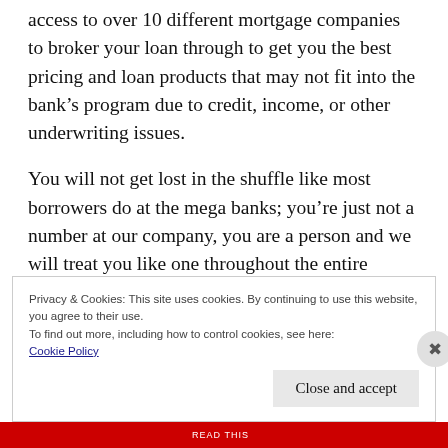access to over 10 different mortgage companies to broker your loan through to get you the best pricing and loan products that may not fit into the bank's program due to credit, income, or other underwriting issues.
You will not get lost in the shuffle like most borrowers do at the mega banks; you're just not a number at our company, you are a person and we will treat you like one throughout the entire process.
Privacy & Cookies: This site uses cookies. By continuing to use this website, you agree to their use.
To find out more, including how to control cookies, see here:
Cookie Policy
Close and accept